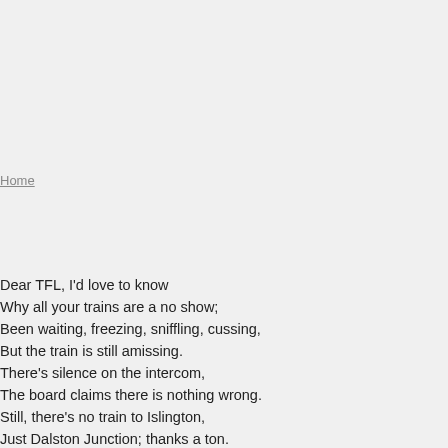Home
Dear TFL, I'd love to know
Why all your trains are a no show;
Been waiting, freezing, sniffling, cussing,
But the train is still amissing.
There's silence on the intercom,
The board claims there is nothing wrong.
Still, there's no train to Islington,
Just Dalston Junction; thanks a ton.
Though even that, believe you me,
Is nowhere that the eye can see.
So when I ask the poor attendant,
He shrugs he's shoulders, unrepentant,